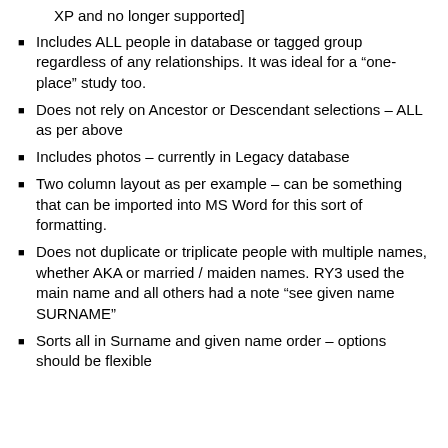XP and no longer supported]
Includes ALL people in database or tagged group regardless of any relationships.  It was ideal for a “one-place” study too.
Does not rely on Ancestor or Descendant selections – ALL as per above
Includes photos – currently in Legacy database
Two column layout as per example – can be something that can be imported into MS Word for this sort of formatting.
Does not duplicate or triplicate people with multiple names, whether AKA or married / maiden names.  RY3 used the main name and all others had a note “see given name SURNAME”
Sorts all in Surname and given name order – options should be flexible